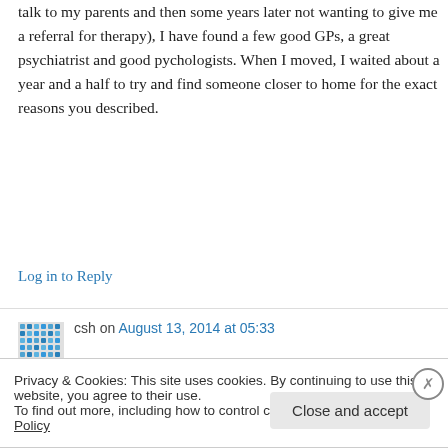talk to my parents and then some years later not wanting to give me a referral for therapy), I have found a few good GPs, a great psychiatrist and good pychologists. When I moved, I waited about a year and a half to try and find someone closer to home for the exact reasons you described.
Log in to Reply
csh on August 13, 2014 at 05:33
Privacy & Cookies: This site uses cookies. By continuing to use this website, you agree to their use.
To find out more, including how to control cookies, see here: Cookie Policy
Close and accept